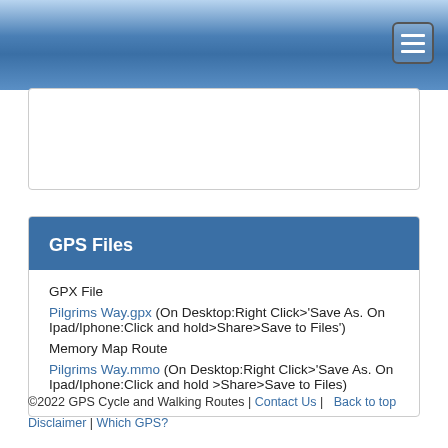GPS Cycle and Walking Routes - navigation header with hamburger menu
GPS Files
GPX File
Pilgrims Way.gpx (On Desktop:Right Click>'Save As. On Ipad/Iphone:Click and hold>Share>Save to Files')
Memory Map Route
Pilgrims Way.mmo (On Desktop:Right Click>'Save As. On Ipad/Iphone:Click and hold >Share>Save to Files)
©2022 GPS Cycle and Walking Routes | Contact Us | Back to top Disclaimer | Which GPS?